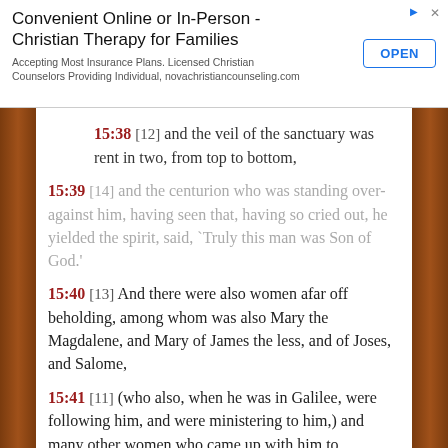[Figure (other): Advertisement banner: Convenient Online or In-Person - Christian Therapy for Families. Accepting Most Insurance Plans. Licensed Christian Counselors Providing Individual, novachristiancounseling.com. OPEN button.]
15:38 [12] and the veil of the sanctuary was rent in two, from top to bottom,
15:39 [14] and the centurion who was standing over-against him, having seen that, having so cried out, he yielded the spirit, said, `Truly this man was Son of God.'
15:40 [13] And there were also women afar off beholding, among whom was also Mary the Magdalene, and Mary of James the less, and of Joses, and Salome,
15:41 [11] (who also, when he was in Galilee, were following him, and were ministering to him,) and many other women who came up with him to Jerusalem.